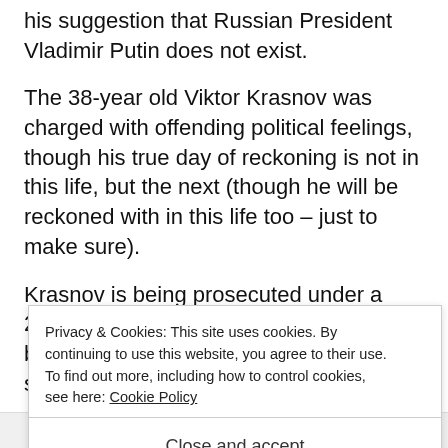his suggestion that Russian President Vladimir Putin does not exist.
The 38-year old Viktor Krasnov was charged with offending political feelings, though his true day of reckoning is not in this life, but the next (though he will be reckoned with in this life too – just to make sure).
Krasnov is being prosecuted under a 2013 law b... s...
Privacy & Cookies: This site uses cookies. By continuing to use this website, you agree to their use.
To find out more, including how to control cookies, see here: Cookie Policy
Close and accept